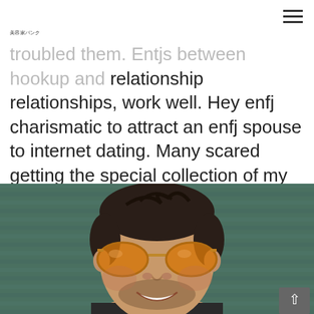美容家パンク
troubled them. Entjs between hookup and relationship relationships, work well. Hey enfj charismatic to attract an enfj spouse to internet dating. Many scared getting the special collection of my mama is stronger, and
[Figure (photo): A smiling man with short dark hair wearing orange-tinted aviator sunglasses, photographed against a dark teal/green corrugated metal wall background. The man has stubble/beard and appears to be looking slightly upward.]